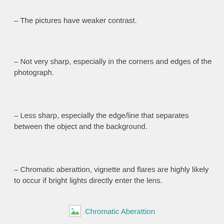– The pictures have weaker contrast.
– Not very sharp, especially in the corners and edges of the photograph.
– Less sharp, especially the edge/line that separates between the object and the background.
– Chromatic aberattion, vignette and flares are highly likely to occur if bright lights directly enter the lens.
Chromatic Aberattion